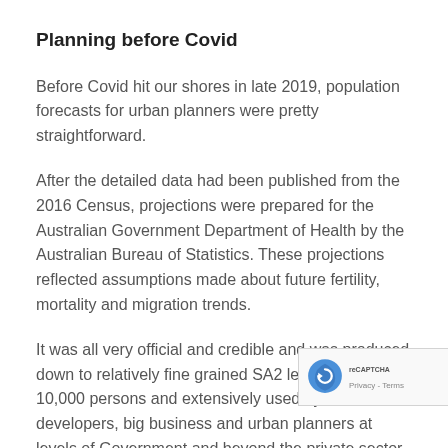Planning before Covid
Before Covid hit our shores in late 2019, population forecasts for urban planners were pretty straightforward.
After the detailed data had been published from the 2016 Census, projections were prepared for the Australian Government Department of Health by the Australian Bureau of Statistics. These projections reflected assumptions made about future fertility, mortality and migration trends.
It was all very official and credible and was produced down to relatively fine grained SA2 levels of about 10,000 persons and extensively used by schools, developers, big business and urban planners at levels of Government and beyond the private sector.